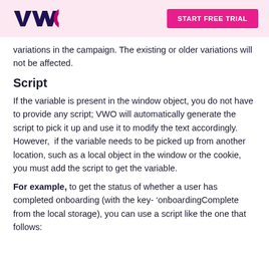VWO | START FREE TRIAL
variations in the campaign. The existing or older variations will not be affected.
Script
If the variable is present in the window object, you do not have to provide any script; VWO will automatically generate the script to pick it up and use it to modify the text accordingly. However,  if the variable needs to be picked up from another location, such as a local object in the window or the cookie, you must add the script to get the variable.
For example, to get the status of whether a user has completed onboarding (with the key- ‘onboardingComplete from the local storage), you can use a script like the one that follows: